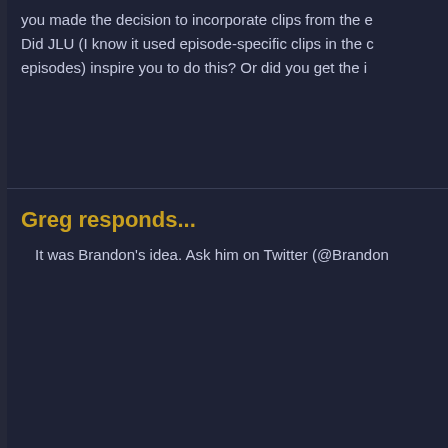you made the decision to incorporate clips from the e Did JLU (I know it used episode-specific clips in the c episodes) inspire you to do this? Or did you get the i
Greg responds...
It was Brandon's idea. Ask him on Twitter (@Brandon
Question received
Kevin writes...
I was wondering why the White Martians are treated telepathy Green and Red Martians must be aware of how can beings with telepathy be cruel to one anothe pain? Maybe telepathy does not create empathy but of them would enjoy feeling how others are suffering. think you can rationalize lets discriminate against oth thoughts. I obviously do not know their history, cultur differently on each other so if it is not a massive spoi